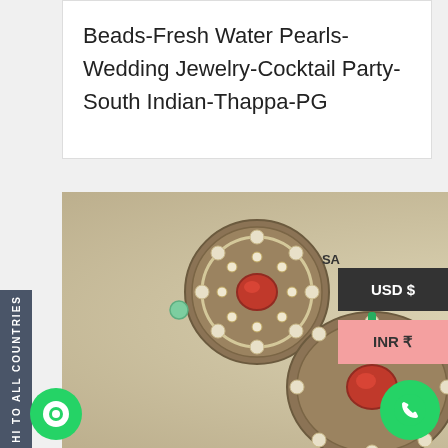Beads-Fresh Water Pearls-Wedding Jewelry-Cocktail Party-South Indian-Thappa-PG
[Figure (photo): Photo of traditional South Indian jewelry set: two oval earrings with red center stones surrounded by white kundan/polki stones with small green bead drops, and one large matching pendant below with red center stone and pearl/kundan border, on a beige background.]
USD $
INR ₹
HI TO ALL COUNTRIES